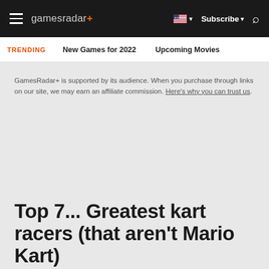gamesradar+ | Subscribe | Search
TRENDING  New Games for 2022  Upcoming Movies
GamesRadar+ is supported by its audience. When you purchase through links on our site, we may earn an affiliate commission. Here's why you can trust us.
Top 7... Greatest kart racers (that aren't Mario Kart)